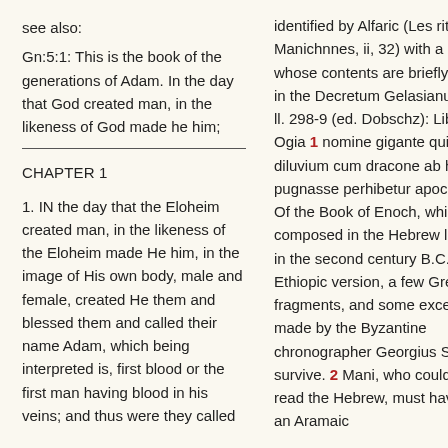see also:
Gn:5:1: This is the book of the generations of Adam. In the day that God created man, in the likeness of God made he him;
CHAPTER 1
1. IN the day that the Eloheim created man, in the likeness of the Eloheim made He him, in the image of His own body, male and female, created He them and blessed them and called their name Adam, which being interpreted is, first blood or the first man having blood in his veins; and thus were they called
identified by Alfaric (Les ritures Manichnnes, ii, 32) with a book whose contents are briefly indicated in the Decretum Gelasianum, p. 54, ll. 298-9 (ed. Dobschz): Liber de Ogia 1 nomine gigante qui post diluvium cum dracone ab hereticis pugnasse perhibetur apocryphus. Of the Book of Enoch, which was composed in the Hebrew language in the second century B.C., only an Ethiopic version, a few Greek fragments, and some excerpts made by the Byzantine chronographer Georgius Syncellus survive. 2 Mani, who could hardly read the Hebrew, must have used an Aramaic